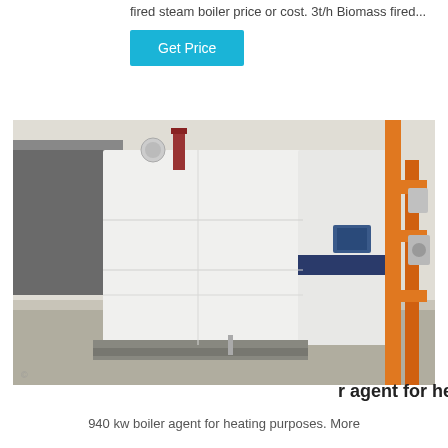fired steam boiler price or cost. 3t/h Biomass fired...
Get Price
[Figure (photo): Large white industrial steam boiler or heating unit installed in a facility room with orange gas pipes on the right side.]
r agent for heating
940 kw boiler agent for heating purposes. More